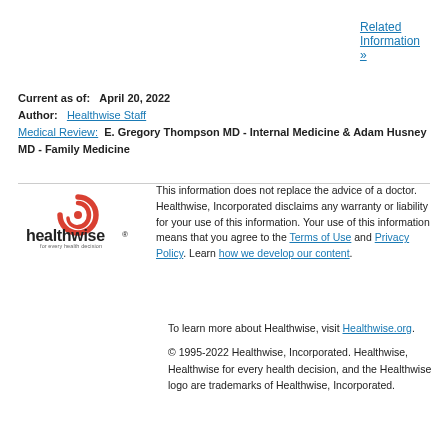Related Information »
Current as of:   April 20, 2022
Author:   Healthwise Staff
Medical Review:  E. Gregory Thompson MD - Internal Medicine & Adam Husney MD - Family Medicine
[Figure (logo): Healthwise logo — red swirl icon above the word 'healthwise®' with tagline 'for every health decision']
This information does not replace the advice of a doctor. Healthwise, Incorporated disclaims any warranty or liability for your use of this information. Your use of this information means that you agree to the Terms of Use and Privacy Policy. Learn how we develop our content.
To learn more about Healthwise, visit Healthwise.org.

© 1995-2022 Healthwise, Incorporated. Healthwise, Healthwise for every health decision, and the Healthwise logo are trademarks of Healthwise, Incorporated.